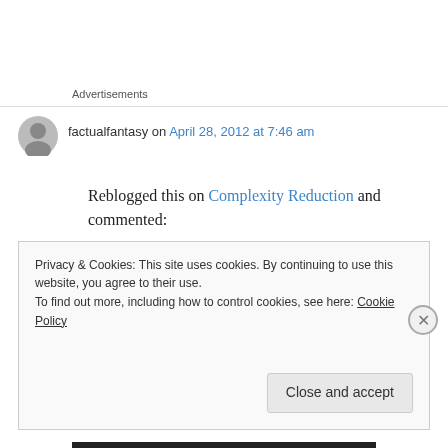Advertisements
factualfantasy on April 28, 2012 at 7:46 am
Reblogged this on Complexity Reduction and commented:
People often talk of “broken English”, but how to define it?
Privacy & Cookies: This site uses cookies. By continuing to use this website, you agree to their use.
To find out more, including how to control cookies, see here: Cookie Policy
Close and accept